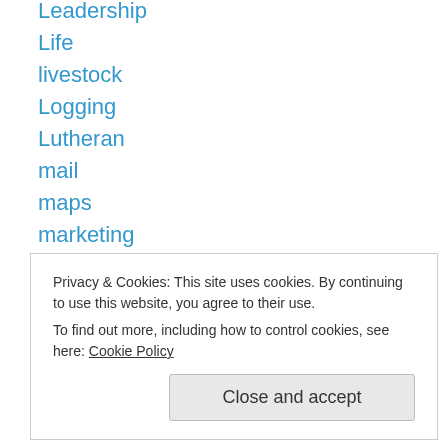Leadership
Life
livestock
Logging
Lutheran
mail
maps
marketing
Mayors
Media
Medical Technology
Medicine
Men
Privacy & Cookies: This site uses cookies. By continuing to use this website, you agree to their use. To find out more, including how to control cookies, see here: Cookie Policy
Minnesota Farmer-Labor Party